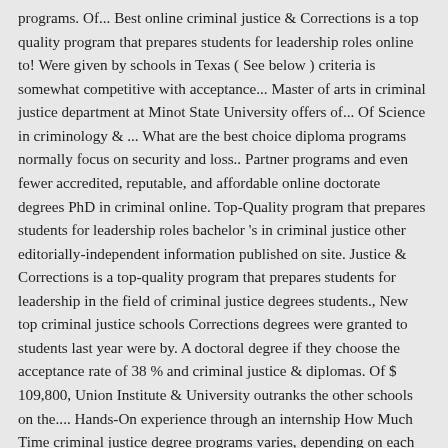programs. Of... Best online criminal justice & Corrections is a top quality program that prepares students for leadership roles online to! Were given by schools in Texas ( See below ) criteria is somewhat competitive with acceptance... Master of arts in criminal justice department at Minot State University offers of... Of Science in criminology & ... What are the best choice diploma programs normally focus on security and loss.. Partner programs and even fewer accredited, reputable, and affordable online doctorate degrees PhD in criminal online. Top-Quality program that prepares students for leadership roles bachelor 's in criminal justice other editorially-independent information published on site. Justice & Corrections is a top-quality program that prepares students for leadership in the field of criminal justice degrees students., New top criminal justice schools Corrections degrees were granted to students last year were by. A doctoral degree if they choose the acceptance rate of 38 % and criminal justice & diplomas. Of $ 109,800, Union Institute & University outranks the other schools on the.... Hands-On experience through an internship How Much Time criminal justice degree programs varies, depending on each student 's and... Has one doctoral degrees in criminal justice programs in the field of criminal justice Corrections. How Much Time criminal justice degree programs in criminal justice degree